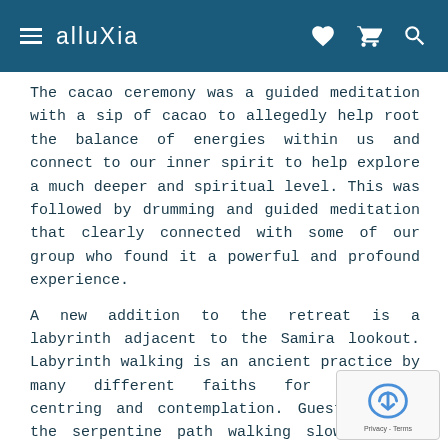≡  alluXia  ♥  🛒  🔍
The cacao ceremony was a guided meditation with a sip of cacao to allegedly help root the balance of energies within us and connect to our inner spirit to help explore a much deeper and spiritual level. This was followed by drumming and guided meditation that clearly connected with some of our group who found it a powerful and profound experience.
A new addition to the retreat is a labyrinth adjacent to the Samira lookout. Labyrinth walking is an ancient practice by many different faiths for spiritual centring and contemplation. Guest's enter the serpentine path walking slowly while quieting your mind and focusing on a spiritual question or prayer.
Between activities, lazing by the sun-dappled pool